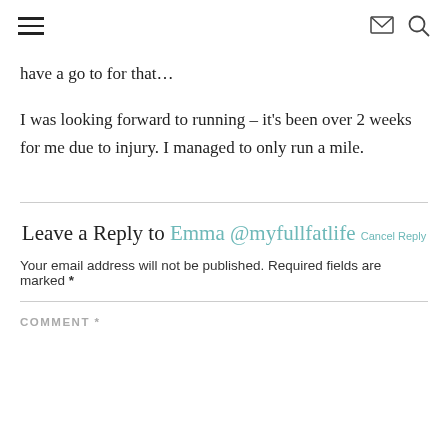[hamburger menu icon] [email icon] [search icon]
have a go to for that…
I was looking forward to running – it's been over 2 weeks for me due to injury. I managed to only run a mile.
Leave a Reply to Emma @myfullfatlife Cancel Reply
Your email address will not be published. Required fields are marked *
COMMENT *